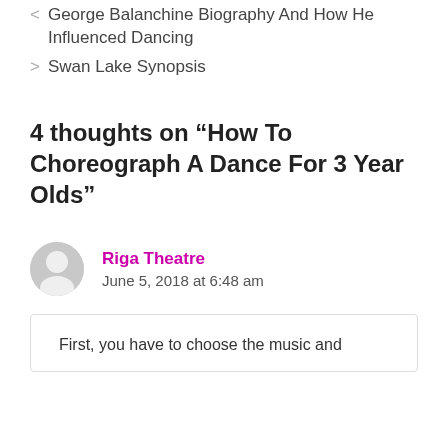< George Balanchine Biography And How He Influenced Dancing
> Swan Lake Synopsis
4 thoughts on “How To Choreograph A Dance For 3 Year Olds”
Riga Theatre
June 5, 2018 at 6:48 am
First, you have to choose the music and